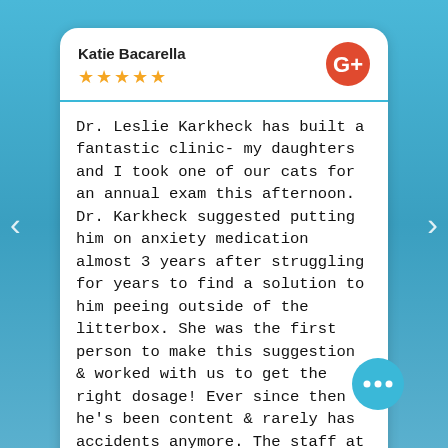Katie Bacarella
[Figure (other): Google Plus logo icon (orange circle with white G+)]
★★★★★
Dr. Leslie Karkheck has built a fantastic clinic- my daughters and I took one of our cats for an annual exam this afternoon. Dr. Karkheck suggested putting him on anxiety medication almost 3 years after struggling for years to find a solution to him peeing outside of the litterbox. She was the first person to make this suggestion & worked with us to get the right dosage! Ever since then he's been content & rarely has accidents anymore. The staff at Dundee Vet was all super nice, I was able to stay in the car with my yahoos, the whole appointment was about a 20-25 minute experience. The